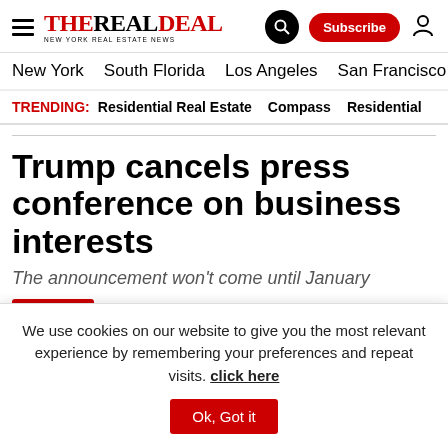The Real Deal — New York Real Estate News
New York  South Florida  Los Angeles  San Francisco  Chic
TRENDING: Residential Real Estate  Compass  Residential
Trump cancels press conference on business interests
The announcement won't come until January
New York   Dec. 13, 2016 08:30 AM
TRD Staff
We use cookies on our website to give you the most relevant experience by remembering your preferences and repeat visits. click here  Ok, Got it